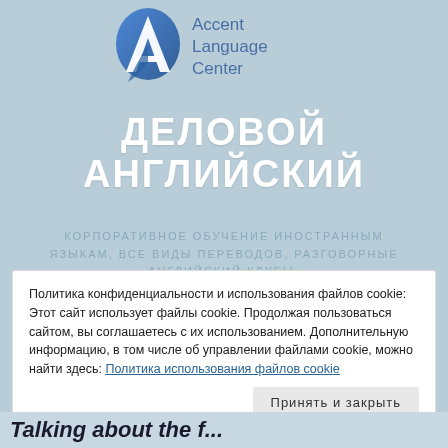[Figure (logo): Accent Language Center logo — stylized A letter in blue gradient with text 'Accent Language Center' in blue]
ДЕЛОВОЙ АНГЛИЙСКИЙ
КОРПОРАТИВНОЕ ОБУЧЕНИЕ ИНОСТРАННЫМ ЯЗЫКАМ, ВСЕ ВИДЫ ПЕРЕВОДОВ, РАЗГОВОРНЫЕ АНГЛИЙСКИЙ КЛУБЫ,
Политика конфиденциальности и использования файлов cookie: Этот сайт использует файлы cookie. Продолжая пользоваться сайтом, вы соглашаетесь с их использованием. Дополнительную информацию, в том числе об управлении файлами cookie, можно найти здесь: Политика использования файлов cookie
Принять и закрыть
Talking about the f...